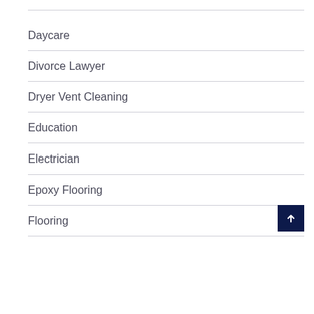Daycare
Divorce Lawyer
Dryer Vent Cleaning
Education
Electrician
Epoxy Flooring
Flooring